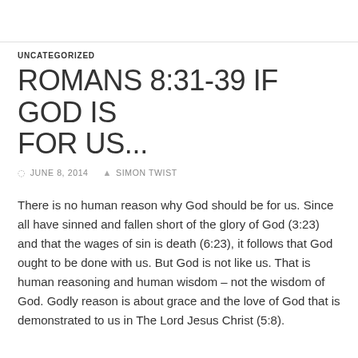UNCATEGORIZED
ROMANS 8:31-39 IF GOD IS FOR US...
JUNE 8, 2014   SIMON TWIST
There is no human reason why God should be for us. Since all have sinned and fallen short of the glory of God (3:23) and that the wages of sin is death (6:23), it follows that God ought to be done with us. But God is not like us. That is human reasoning and human wisdom – not the wisdom of God. Godly reason is about grace and the love of God that is demonstrated to us in The Lord Jesus Christ (5:8).